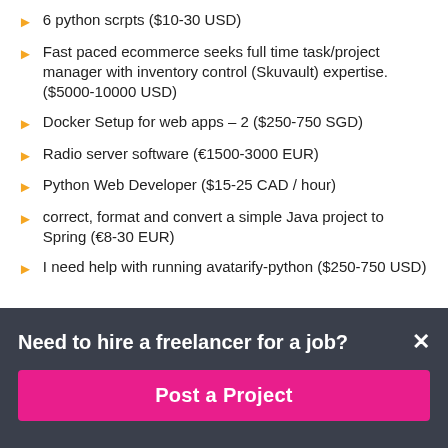6 python scrpts ($10-30 USD)
Fast paced ecommerce seeks full time task/project manager with inventory control (Skuvault) expertise. ($5000-10000 USD)
Docker Setup for web apps – 2 ($250-750 SGD)
Radio server software (€1500-3000 EUR)
Python Web Developer ($15-25 CAD / hour)
correct, format and convert a simple Java project to Spring (€8-30 EUR)
I need help with running avatarify-python ($250-750 USD)
Need to hire a freelancer for a job?
Post a Project